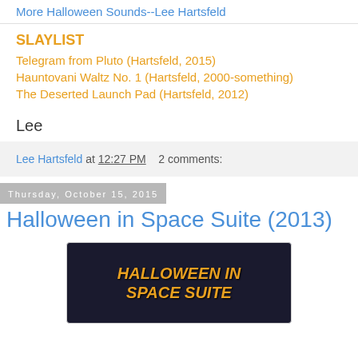More Halloween Sounds--Lee Hartsfeld
SLAYLIST
Telegram from Pluto (Hartsfeld, 2015)
Hauntovani Waltz No. 1 (Hartsfeld, 2000-something)
The Deserted Launch Pad (Hartsfeld, 2012)
Lee
Lee Hartsfeld at 12:27 PM   2 comments:
Thursday, October 15, 2015
Halloween in Space Suite (2013)
[Figure (photo): Album art for Halloween in Space Suite showing orange bold italic text on dark starfield background reading HALLOWEEN IN SPACE SUITE]